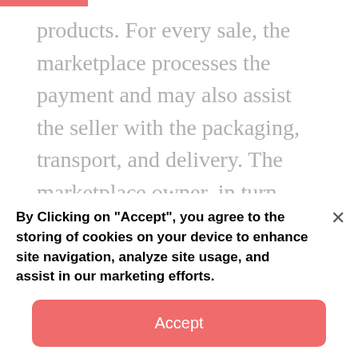products. For every sale, the marketplace processes the payment and may also assist the seller with the packaging, transport, and delivery. The marketplace owner, in turn, charges a commission for every sale and credits the rest to the vendor.

So, a marketplace differs from a regular online store because, in the latter, the seller sells to the customers without the involvement of any third party. Please read the rest of this…
By Clicking on "Accept", you agree to the storing of cookies on your device to enhance site navigation, analyze site usage, and assist in our marketing efforts.